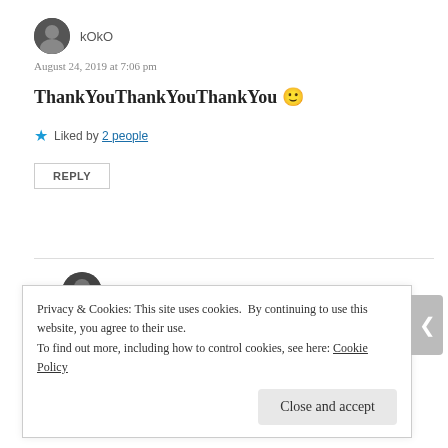kOkO
August 24, 2019 at 7:06 pm
ThankYouThankYouThankYou 🙂
★ Liked by 2 people
REPLY
Watt
August 24, 2019 at 7:10 pm
Privacy & Cookies: This site uses cookies. By continuing to use this website, you agree to their use. To find out more, including how to control cookies, see here: Cookie Policy
Close and accept